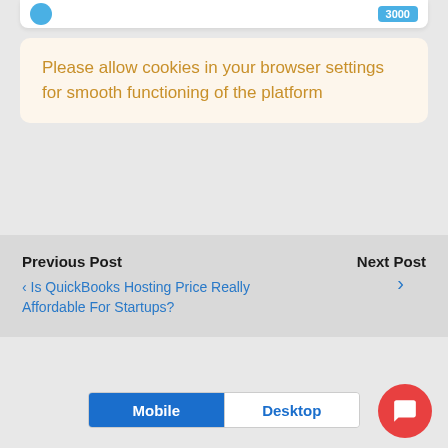Please allow cookies in your browser settings for smooth functioning of the platform
Previous Post
Next Post
‹ Is QuickBooks Hosting Price Really Affordable For Startups?
Back to top
Mobile  Desktop